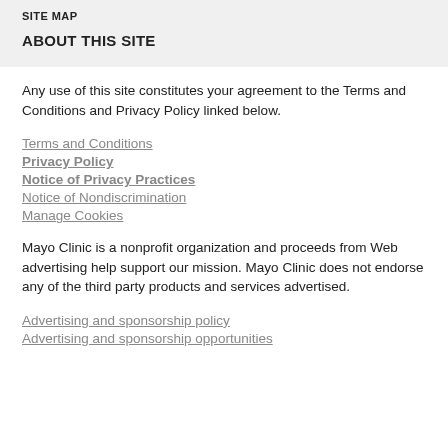SITE MAP
ABOUT THIS SITE
Any use of this site constitutes your agreement to the Terms and Conditions and Privacy Policy linked below.
Terms and Conditions
Privacy Policy
Notice of Privacy Practices
Notice of Nondiscrimination
Manage Cookies
Mayo Clinic is a nonprofit organization and proceeds from Web advertising help support our mission. Mayo Clinic does not endorse any of the third party products and services advertised.
Advertising and sponsorship policy
Advertising and sponsorship opportunities